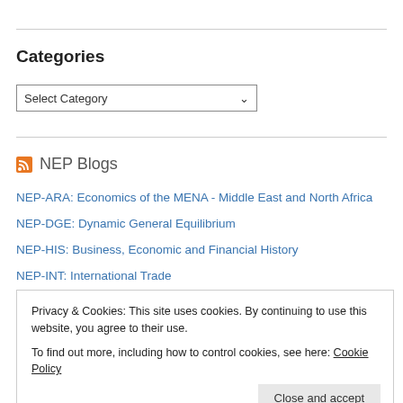Categories
Select Category
NEP Blogs
NEP-ARA: Economics of the MENA - Middle East and North Africa
NEP-DGE: Dynamic General Equilibrium
NEP-HIS: Business, Economic and Financial History
NEP-INT: International Trade
Privacy & Cookies: This site uses cookies. By continuing to use this website, you agree to their use. To find out more, including how to control cookies, see here: Cookie Policy
Close and accept